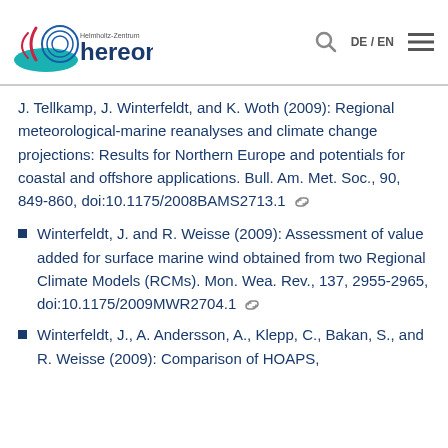Helmholtz-Zentrum hereon | DE / EN
J. Tellkamp, J. Winterfeldt, and K. Woth (2009): Regional meteorological-marine reanalyses and climate change projections: Results for Northern Europe and potentials for coastal and offshore applications. Bull. Am. Met. Soc., 90, 849-860, doi:10.1175/2008BAMS2713.1
Winterfeldt, J. and R. Weisse (2009): Assessment of value added for surface marine wind obtained from two Regional Climate Models (RCMs). Mon. Wea. Rev., 137, 2955-2965, doi:10.1175/2009MWR2704.1
Winterfeldt, J., A. Andersson, A., Klepp, C., Bakan, S., and R. Weisse (2009): Comparison of HOAPS,